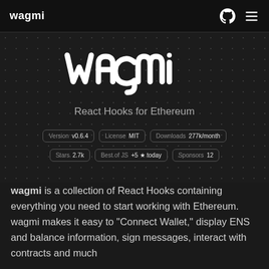wagmi
[Figure (logo): wagmi logo in white on dark dotted background]
React Hooks for Ethereum
Version v0.6.4  License MIT  Downloads 277k/month  Stars 2.7k  Best of JS +5 ★ today  Sponsors 12
wagmi is a collection of React Hooks containing everything you need to start working with Ethereum. wagmi makes it easy to "Connect Wallet," display ENS and balance information, sign messages, interact with contracts and much